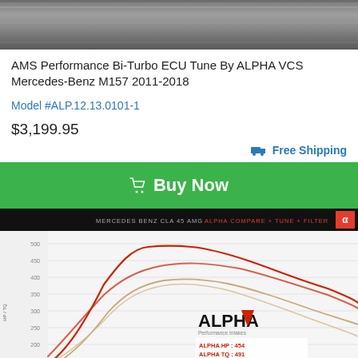[Figure (photo): Top portion of product photo showing a metallic/mechanical surface, partially cropped]
AMS Performance Bi-Turbo ECU Tune By ALPHA VCS Mercedes-Benz M157 2011-2018
Model #ALP.12.13.0101-1
$3,199.95
Free Shipping
Buy Now
[Figure (continuous-plot): Dyno chart for Mercedes Benz CLA 45 AMG Alpha compare + tune + filter, showing horsepower curves. Black header bar with MERCEDES BENZ CLA 45 AMG text and red ALPHA logo. Chart shows multiple curves (red and tan/beige lines) with ALPHA logo watermark, legend showing ALPHA HP: 454, ALPHA TQ: 491, STOCK HP: 407]